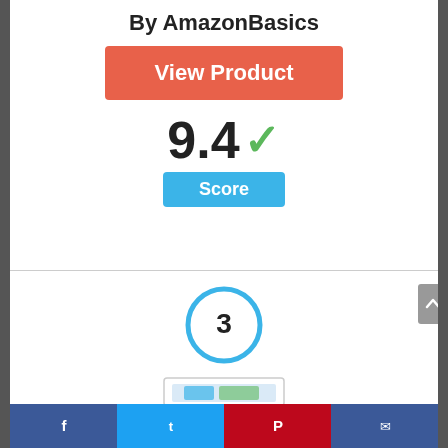By AmazonBasics
[Figure (other): Orange 'View Product' button]
9.4 ✓
Score
[Figure (other): Circle badge with number 3]
[Figure (other): Product image partially visible at bottom]
[Figure (other): Social sharing bar with Facebook, Twitter, Pinterest, and email icons]